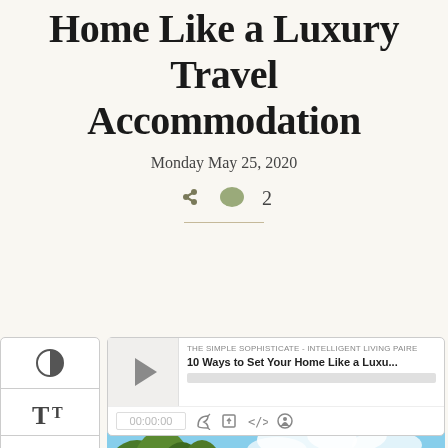Home Like a Luxury Travel Accommodation
Monday May 25, 2020
[Figure (screenshot): Social sharing icon (arrow) and comment bubble with count 2]
[Figure (screenshot): Podcast audio player widget showing episode '10 Ways to Set Your Home Like a Luxu...' from 'THE SIMPLE SOPHISTICATE - INTELLIGENT LIVING PAIRE', with play button, progress bar, time 00:00:00, and controls for RSS, download, embed, and sharing]
[Figure (photo): Outdoor photo showing green trees against a blue sky with clouds, and partially visible building with chimneys below]